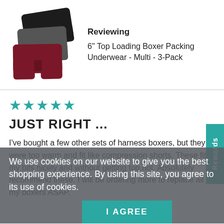[Figure (photo): Three stacked boxer shorts in black, gray, and dark red/maroon colors]
Reviewing
6" Top Loading Boxer Packing Underwear - Multi - 3-Pack
★★★★★
JUST RIGHT ...
I've bought a few other sets of harness boxers, but they were too warm and fit like compression shorts. These fit my bits nicely and without getting too hot. Absolutely recommend these. I will be ordering more to replace all my boxers ASAP.
We use cookies on our website to give you the best shopping experience. By using this site, you agree to its use of cookies.
I AGREE